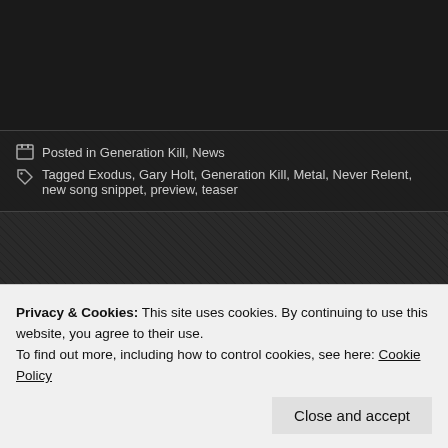Posted in Generation Kill, News
Tagged Exodus, Gary Holt, Generation Kill, Metal, Never Relent, new song snippet, preview, teaser
GoFundMe Campaign Launched For Exodus Drummer To Following Cancer Diagnosis
Posted by caemanameli0 on April 21, 2021
As previously reported, Exodus drummer Tom Hunting was recently diagnosed carcinoma of the stomach. Now, guitarist Gary Holt has launched a GoFundM out with medical bills.
Privacy & Cookies: This site uses cookies. By continuing to use this website, you agree to their use.
To find out more, including how to control cookies, see here: Cookie Policy
Close and accept